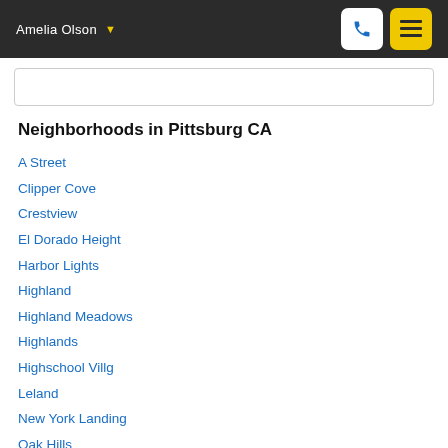Amelia Olson
Neighborhoods in Pittsburg CA
A Street
Clipper Cove
Crestview
El Dorado Height
Harbor Lights
Highland
Highland Meadows
Highlands
Highschool Villg
Leland
New York Landing
Oak Hills
Old Pittsburg
Pittsburg